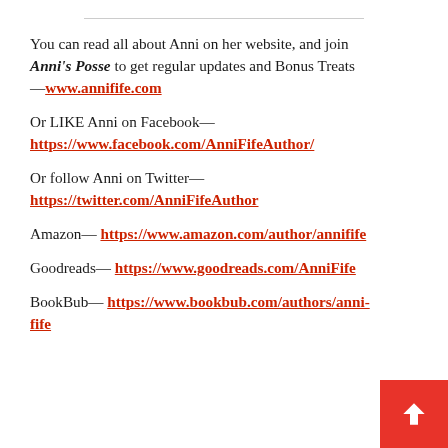You can read all about Anni on her website, and join Anni's Posse to get regular updates and Bonus Treats—www.annifife.com
Or LIKE Anni on Facebook—https://www.facebook.com/AnniFifeAuthor/
Or follow Anni on Twitter—https://twitter.com/AnniFifeAuthor
Amazon— https://www.amazon.com/author/annifife
Goodreads— https://www.goodreads.com/AnniFife
BookBub— https://www.bookbub.com/authors/anni-fife